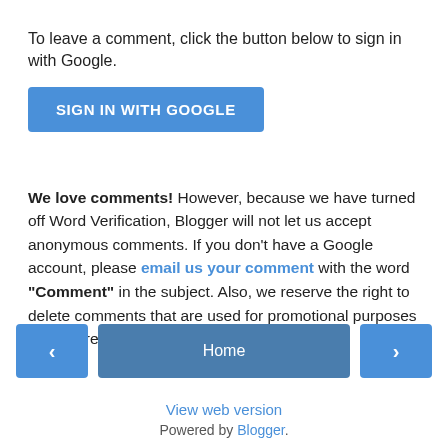To leave a comment, click the button below to sign in with Google.
[Figure (other): Blue 'SIGN IN WITH GOOGLE' button]
We love comments! However, because we have turned off Word Verification, Blogger will not let us accept anonymous comments. If you don't have a Google account, please email us your comment with the word "Comment" in the subject. Also, we reserve the right to delete comments that are used for promotional purposes or that are otherwise inappropriate.
[Figure (other): Navigation bar with left arrow button, Home button, and right arrow button]
View web version
Powered by Blogger.